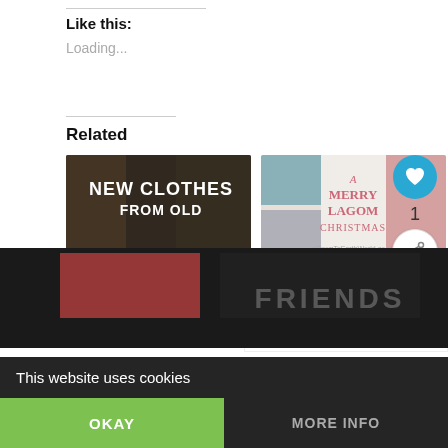Like this:
Loading...
Related
[Figure (photo): New Clothes From Old - darkened clothing background with white bold text overlay]
New Clothes From Old
In "Sewing"
[Figure (photo): A Merry Lagom Christmas - collage of Christmas themed images with pink/red text]
How To Have A Zero Waste Christmas
In "Christmas"
WHAT'S NEXT → Beginner Sewing...
This website uses cookies
OKAY
MORE INFO